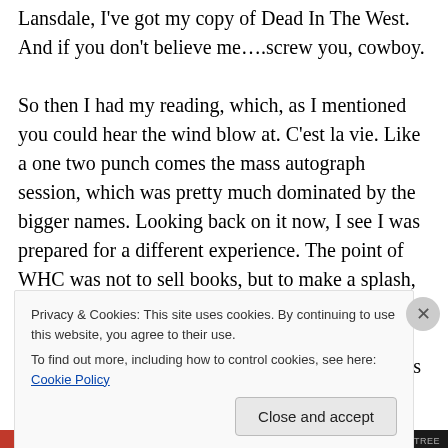Lansdale, I've got my copy of Dead In The West. And if you don't believe me….screw you, cowboy.

So then I had my reading, which, as I mentioned you could hear the wind blow at. C'est la vie. Like a one two punch comes the mass autograph session, which was pretty much dominated by the bigger names. Looking back on it now, I see I was prepared for a different experience. The point of WHC was not to sell books, but to make a splash, do a little politicking, get your name out there. Nobody understood this more in my line of sight than Lincoln Crisler. Watching the guy in action is like watching a
Privacy & Cookies: This site uses cookies. By continuing to use this website, you agree to their use.
To find out more, including how to control cookies, see here: Cookie Policy